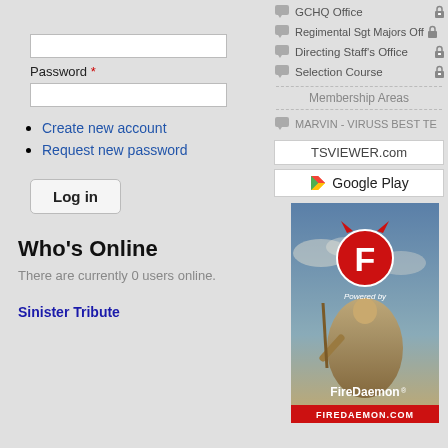Password *
Create new account
Request new password
Log in
Who's Online
There are currently 0 users online.
Sinister Tribute
GCHQ Office
Regimental Sgt Majors Office
Directing Staff's Office
Selection Course
Membership Areas
MARVIN - VIRUSS BEST TE
TSVIEWER.com
Google Play
[Figure (illustration): FireDaemon advertisement banner with red F logo, devil horns, Powered by FireDaemon text, fantasy warrior illustration, FIREDAEMON.COM label at bottom]